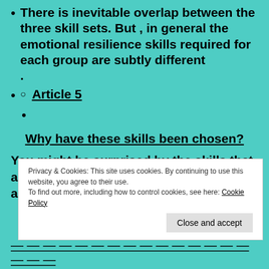There is inevitable overlap between the three skill sets. But , in general the emotional resilience skills required for each group are subtly different .
Article 5
Why have these skills been chosen?
You might be surprised by the skills that appear in the list above, while optimism , altruism , meaning,
Privacy & Cookies: This site uses cookies. By continuing to use this website, you agree to their use. To find out more, including how to control cookies, see here: Cookie Policy
Close and accept